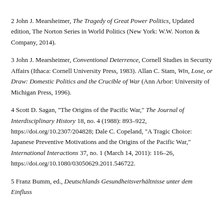2 John J. Mearsheimer, The Tragedy of Great Power Politics, Updated edition, The Norton Series in World Politics (New York: W.W. Norton & Company, 2014).
3 John J. Mearsheimer, Conventional Deterrence, Cornell Studies in Security Affairs (Ithaca: Cornell University Press, 1983). Allan C. Stam, Win, Lose, or Draw: Domestic Politics and the Crucible of War (Ann Arbor: University of Michigan Press, 1996).
4 Scott D. Sagan, "The Origins of the Pacific War," The Journal of Interdisciplinary History 18, no. 4 (1988): 893–922, https://doi.org/10.2307/204828; Dale C. Copeland, "A Tragic Choice: Japanese Preventive Motivations and the Origins of the Pacific War," International Interactions 37, no. 1 (March 14, 2011): 116–26, https://doi.org/10.1080/03050629.2011.546722.
5 Franz Bumm, ed., Deutschlands Gesundheitsverhältnisse unter dem Einfluss...